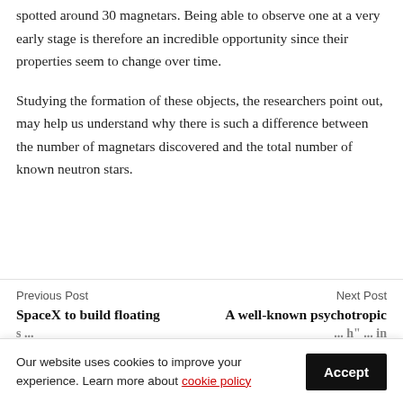spotted around 30 magnetars. Being able to observe one at a very early stage is therefore an incredible opportunity since their properties seem to change over time.
Studying the formation of these objects, the researchers point out, may help us understand why there is such a difference between the number of magnetars discovered and the total number of known neutron stars.
Previous Post
SpaceX to build floating s s
Next Post
A well-known psychotropic h" in
Our website uses cookies to improve your experience. Learn more about cookie policy